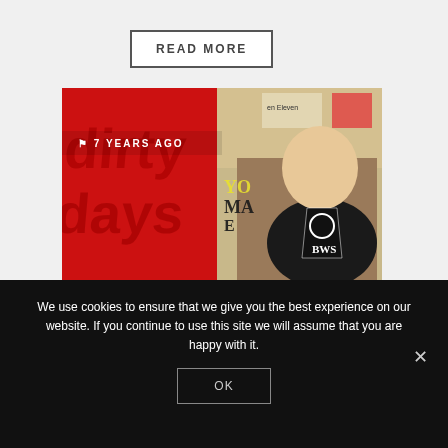READ MORE
[Figure (screenshot): Blog post thumbnail showing a red graphic design background on the left half with large stylized text reading 'dirty days' and a man in a black t-shirt on the right side against a poster background. A timestamp overlay reads '7 YEARS AGO'.]
We use cookies to ensure that we give you the best experience on our website. If you continue to use this site we will assume that you are happy with it.
OK